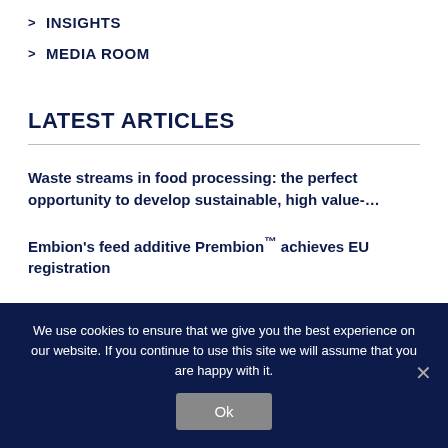INSIGHTS
MEDIA ROOM
LATEST ARTICLES
Waste streams in food processing: the perfect opportunity to develop sustainable, high value-…
Embion's feed additive Prembion™ achieves EU registration
We use cookies to ensure that we give you the best experience on our website. If you continue to use this site we will assume that you are happy with it.